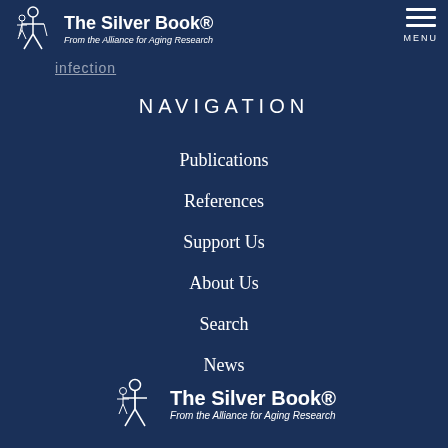The Silver Book® From the Alliance for Aging Research
infection
NAVIGATION
Publications
References
Support Us
About Us
Search
News
[Figure (logo): The Silver Book logo — From the Alliance for Aging Research, footer version]